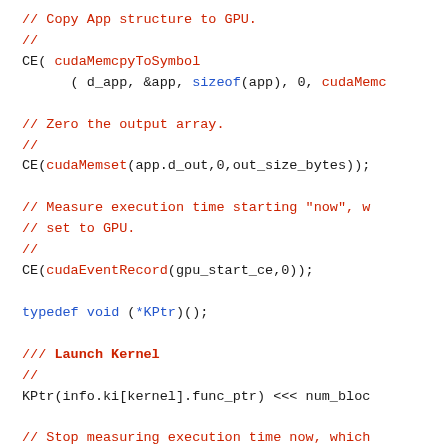// Copy App structure to GPU.
//
CE( cudaMemcpyToSymbol
      ( d_app, &app, sizeof(app), 0, cudaMemc

// Zero the output array.
//
CE(cudaMemset(app.d_out,0,out_size_bytes));

// Measure execution time starting "now", w
// set to GPU.
//
CE(cudaEventRecord(gpu_start_ce,0));

typedef void (*KPtr)();

/// Launch Kernel
//
KPtr(info.ki[kernel].func_ptr) <<< num_bloc

// Stop measuring execution time now, which
// returned from GPU.
//
CE(cudaEventRecord(gpu_stop_ce,0));
CE(cudaEventSynchronize(gpu_stop_ce));
float cuda_time_ms = -1.1;
CE(cudaEventElapsedTime(&cuda_time_ms,gpu_s

const double this_elapsed_time_s = cuda_tim